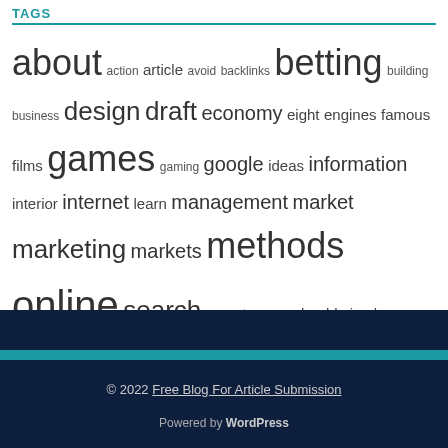TAGS
about action article avoid backlinks betting building business design draft economy eight engines famous films games gaming google ideas information interior internet learn management market marketing markets methods online search secret service should simple soccer sport sports television these things three webmasters website websites without
SPONSERS
خرید بک لینک
فروش بک لینک با کیفیت از سایت های ایرانی و خارجی به صورت دائمی ریپورتاژ خبری
www.ashnaweb.com
© 2022 Free Blog For Article Submission
Powered by WordPress